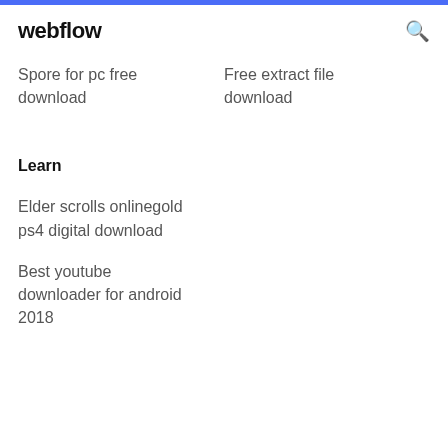webflow
Spore for pc free download
Free extract file download
Learn
Elder scrolls onlinegold ps4 digital download
Best youtube downloader for android 2018